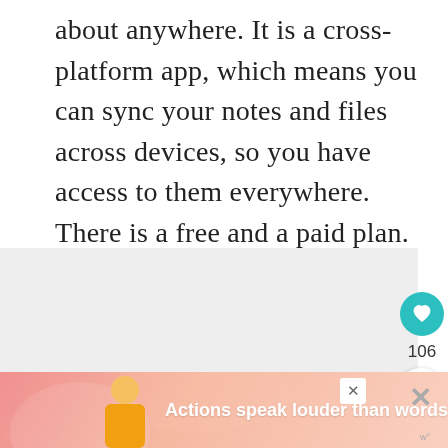about anywhere. It is a cross-platform app, which means you can sync your notes and files across devices, so you have access to them everywhere. There is a free and a paid plan.
[Figure (other): Light gray placeholder image area with social interaction buttons: a teal heart/like button showing 106 likes, a share button, and a 'What's Next' card showing 'Easy Loaded Vegetarian...' with a food image thumbnail.]
[Figure (infographic): Advertisement banner with pink/coral gradient background showing a person figure, bold white text 'Actions speak louder than words.' with close buttons.]